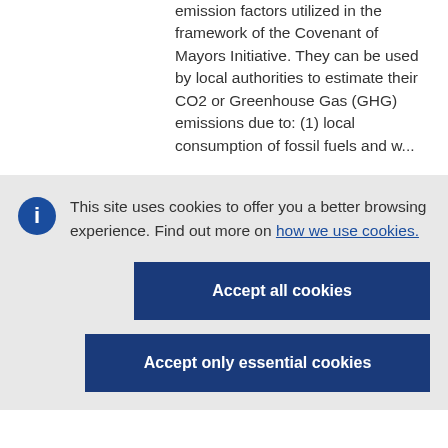emission factors utilized in the framework of the Covenant of Mayors Initiative. They can be used by local authorities to estimate their CO2 or Greenhouse Gas (GHG) emissions due to: (1) local consumption of fossil fuels and w...
This site uses cookies to offer you a better browsing experience. Find out more on how we use cookies.
Accept all cookies
Accept only essential cookies